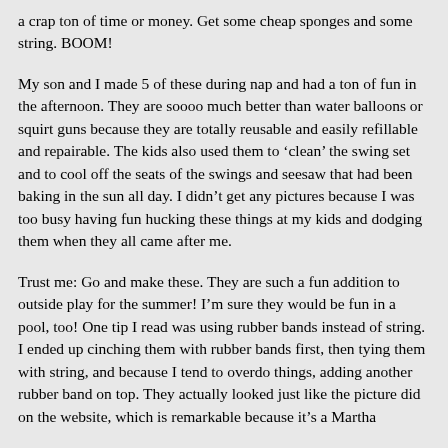a crap ton of time or money. Get some cheap sponges and some string. BOOM!
My son and I made 5 of these during nap and had a ton of fun in the afternoon. They are soooo much better than water balloons or squirt guns because they are totally reusable and easily refillable and repairable. The kids also used them to ‘clean’ the swing set and to cool off the seats of the swings and seesaw that had been baking in the sun all day. I didn’t get any pictures because I was too busy having fun hucking these things at my kids and dodging them when they all came after me.
Trust me: Go and make these. They are such a fun addition to outside play for the summer! I’m sure they would be fun in a pool, too! One tip I read was using rubber bands instead of string. I ended up cinching them with rubber bands first, then tying them with string, and because I tend to overdo things, adding another rubber band on top. They actually looked just like the picture did on the website, which is remarkable because it’s a Martha